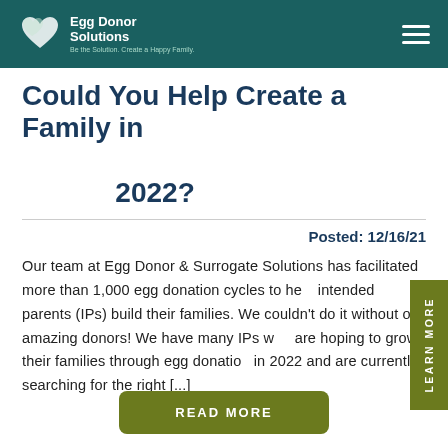Egg Donor Solutions — Be the Solution. Create a Happy Family.
Could You Help Create a Family in 2022?
Posted: 12/16/21
Our team at Egg Donor & Surrogate Solutions has facilitated more than 1,000 egg donation cycles to help intended parents (IPs) build their families. We couldn't do it without our amazing donors! We have many IPs who are hoping to grow their families through egg donation in 2022 and are currently searching for the right [...]
LEARN MORE
READ MORE